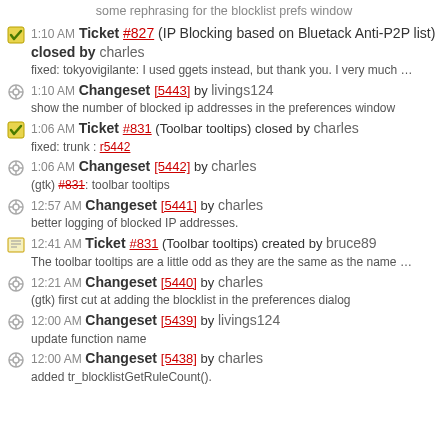some rephrasing for the blocklist prefs window
1:10 AM Ticket #827 (IP Blocking based on Bluetack Anti-P2P list) closed by charles
fixed: tokyovigilante: I used ggets instead, but thank you. I very much …
1:10 AM Changeset [5443] by livings124
show the number of blocked ip addresses in the preferences window
1:06 AM Ticket #831 (Toolbar tooltips) closed by charles
fixed: trunk : r5442
1:06 AM Changeset [5442] by charles
(gtk) #831: toolbar tooltips
12:57 AM Changeset [5441] by charles
better logging of blocked IP addresses.
12:41 AM Ticket #831 (Toolbar tooltips) created by bruce89
The toolbar tooltips are a little odd as they are the same as the name …
12:21 AM Changeset [5440] by charles
(gtk) first cut at adding the blocklist in the preferences dialog
12:00 AM Changeset [5439] by livings124
update function name
12:00 AM Changeset [5438] by charles
added tr_blocklistGetRuleCount().